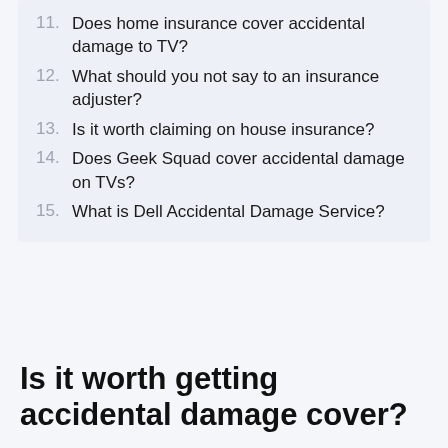11. Does home insurance cover accidental damage to TV?
12. What should you not say to an insurance adjuster?
13. Is it worth claiming on house insurance?
14. Does Geek Squad cover accidental damage on TVs?
15. What is Dell Accidental Damage Service?
Is it worth getting accidental damage cover?